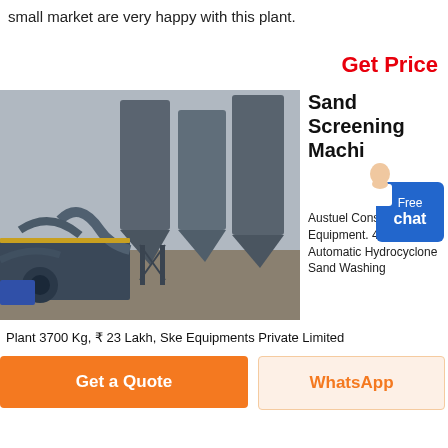small market are very happy with this plant.
Get Price
[Figure (photo): Industrial sand screening/washing plant machinery with large cylindrical silos and pipe systems outdoors]
Sand Screening Machine Austuel Construction Equipment. 45Kw Fully Automatic Hydrocyclone Sand Washing Plant 3700 Kg, ₹ 23 Lakh, Ske Equipments Private Limited
Plant 3700 Kg, ₹ 23 Lakh, Ske Equipments Private Limited
Get a Quote
WhatsApp